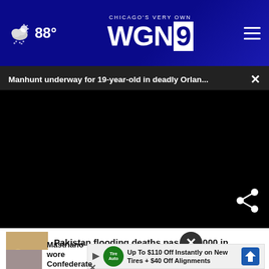CHICAGO'S VERY OWN WGN9 | 88°
Manhunt underway for 19-year-old in deadly Orlan... ×
[Figure (screenshot): Black video player area with share icon and loading spinner]
Pakistan flooding deaths pas... 000 in (climate catastrophe)
Mastriano wore Confederate uniform
Up To $110 Off Instantly on New Tires + $40 Off Alignments